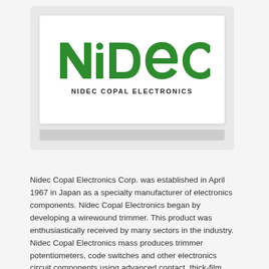[Figure (logo): Nidec Copal Electronics logo — green stylized 'Nidec' wordmark above 'NIDEC COPAL ELECTRONICS' in black text, displayed inside a white card with a light gray frame/border.]
Nidec Copal Electronics Corp. was established in April 1967 in Japan as a specialty manufacturer of electronics components. Nidec Copal Electronics began by developing a wirewound trimmer. This product was enthusiastically received by many sectors in the industry. Nidec Copal Electronics mass produces trimmer potentiometers, code switches and other electronics circuit components using advanced contact, thick-film printing and automation technologies. Other innovations include Copal's high performance reliable polygon laser scanners manufactured using a combination of diamond point cutting, optical thin film